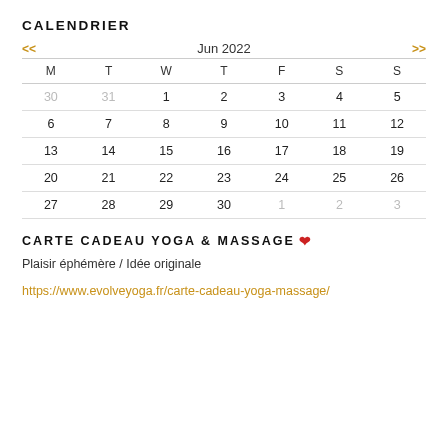CALENDRIER
| M | T | W | T | F | S | S |
| --- | --- | --- | --- | --- | --- | --- |
| 30 | 31 | 1 | 2 | 3 | 4 | 5 |
| 6 | 7 | 8 | 9 | 10 | 11 | 12 |
| 13 | 14 | 15 | 16 | 17 | 18 | 19 |
| 20 | 21 | 22 | 23 | 24 | 25 | 26 |
| 27 | 28 | 29 | 30 | 1 | 2 | 3 |
CARTE CADEAU YOGA & MASSAGE ❤
Plaisir éphémère / Idée originale
https://www.evolveyoga.fr/carte-cadeau-yoga-massage/